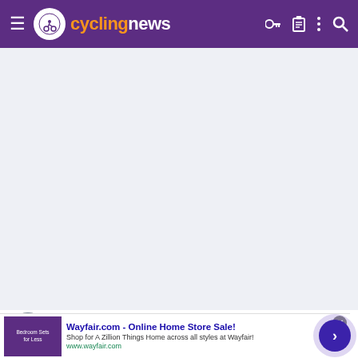cyclingnews navigation bar
[Figure (screenshot): Grey/white empty content area below navigation bar]
BlueRoads  Jan 4, 2020  6,327  7,725  16,180
[Figure (photo): User avatar showing cyclist on road]
Wayfair.com - Online Home Store Sale! Shop for A Zillion Things Home across all styles at Wayfair! www.wayfair.com